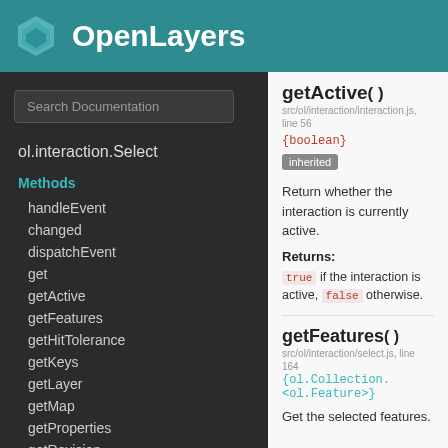[Figure (logo): OpenLayers logo with teal hexagon icon and white text 'OpenLayers' on teal header background]
Search Documentation
ol.interaction.Select
Methods
handleEvent
changed
dispatchEvent
get
getActive
getFeatures
getHitTolerance
getKeys
getLayer
getMap
getProperties
getRevision
on
once
getActive()
src/ol/interaction/interaction.js, line 56
{boolean}
inherited
Return whether the interaction is currently active.
Returns:
true if the interaction is active, false otherwise.
getFeatures()
src/ol/interaction/select.js, line 164
{ol.Collection.<ol.Feature>}
Get the selected features.